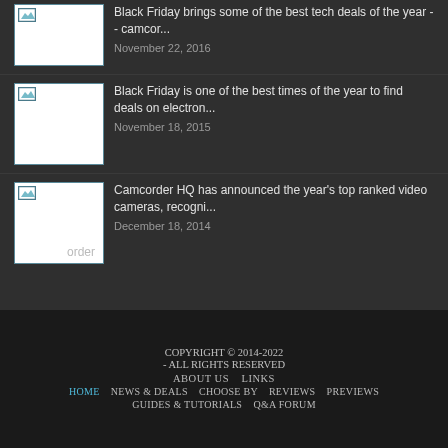[Figure (photo): Thumbnail image placeholder for article about Black Friday tech deals, November 22, 2016]
Black Friday brings some of the best tech deals of the year -- camcor...
November 22, 2016
[Figure (photo): Thumbnail image placeholder for article about Black Friday electronics deals, November 18, 2015]
Black Friday is one of the best times of the year to find deals on electron...
November 18, 2015
[Figure (photo): Thumbnail image placeholder for article about Camcorder HQ top ranked video cameras, December 18, 2014]
Camcorder HQ has announced the year's top ranked video cameras, recogni...
December 18, 2014
COPYRIGHT © 2014-2022 - ALL RIGHTS RESERVED  ABOUT US  LINKS  HOME  NEWS & DEALS  CHOOSE BY  REVIEWS  PREVIEWS  GUIDES & TUTORIALS  Q&A FORUM